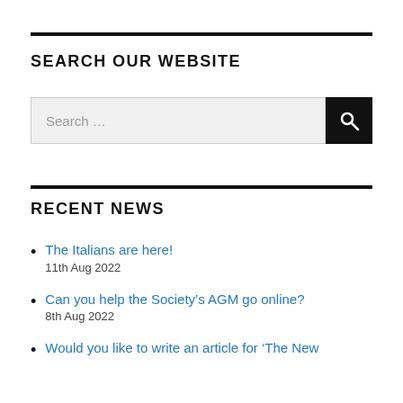SEARCH OUR WEBSITE
[Figure (screenshot): Search input box with placeholder text 'Search ...' and a black search button with magnifying glass icon]
RECENT NEWS
The Italians are here!
11th Aug 2022
Can you help the Society’s AGM go online?
8th Aug 2022
Would you like to write an article for ‘The New ...